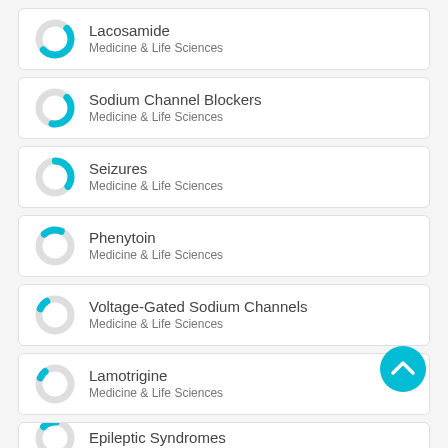Lacosamide
Medicine & Life Sciences
Sodium Channel Blockers
Medicine & Life Sciences
Seizures
Medicine & Life Sciences
Phenytoin
Medicine & Life Sciences
Voltage-Gated Sodium Channels
Medicine & Life Sciences
Lamotrigine
Medicine & Life Sciences
Epileptic Syndromes
Medicine & Life Sciences